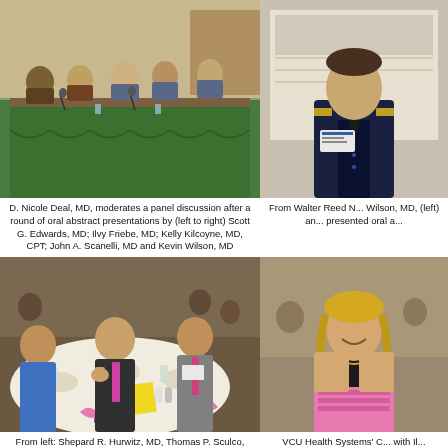[Figure (photo): Panel discussion at a conference table with green tablecloth; several military and civilian attendees seated, moderated by D. Nicole Deal, MD]
[Figure (photo): Man in dark military dress uniform with name badge, standing in front of a poster board]
D. Nicole Deal, MD, moderates a panel discussion after a round of oral abstract presentations by (left to right) Scott G. Edwards, MD; Ilvy Friebe, MD; Kelly Kilcoyne, MD, CPT; John A. Scanelli, MD and Kevin Wilson, MD
From Walter Reed N... Wilson, MD, (left) an... presented oral a...
[Figure (photo): Three men seated at a round banquet table with food and drinks; man in center giving thumbs up]
[Figure (photo): Woman in black sleeveless top and patterned skirt smiling at the camera at a conference event]
From left: Shepard R. Hurwitz, MD, Thomas P. Sculco, MD, and Quanjun "Trey" Cui, MD, enjoy one of the
VCU Health Systems' C... with Il...